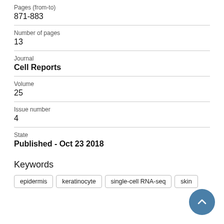Pages (from-to)
871-883
Number of pages
13
Journal
Cell Reports
Volume
25
Issue number
4
State
Published - Oct 23 2018
Keywords
epidermis
keratinocyte
single-cell RNA-seq
skin